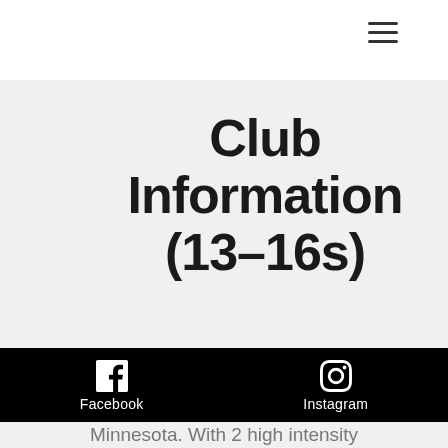☰
Club Information (13–16s)
The Freeze season runs December - June in which players are trained by great coaches utilizing the training and
[Figure (infographic): Black footer bar with Facebook and Instagram social media icons and labels]
Minnesota. With 2 high intensity